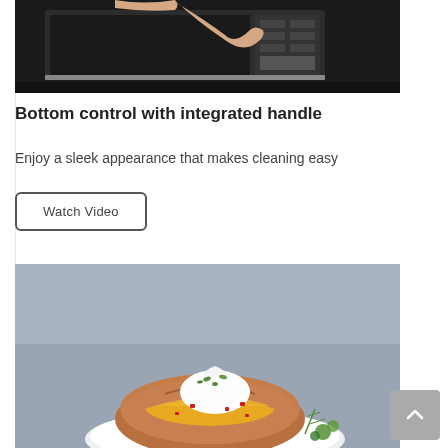[Figure (photo): A hand reaching toward a microwave oven control panel, shown against a dark background. The microwave appears to be a stainless steel over-the-range model.]
Bottom control with integrated handle
Enjoy a sleek appearance that makes cleaning easy
Watch Video
[Figure (photo): A baked potato topped with sour cream, melted orange cheese, diced red peppers, and fresh herbs including rosemary and parsley, served on a white plate. Background is gray/blue.]